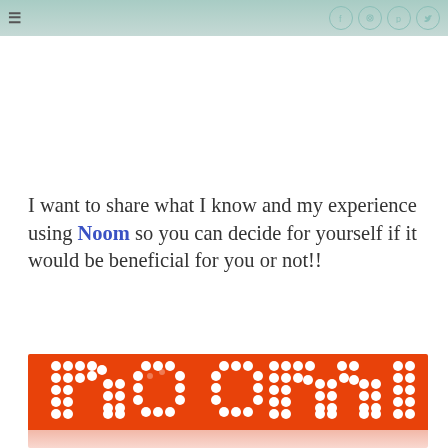≡  [social icons: facebook, instagram, pinterest, twitter]
I want to share what I know and my experience using Noom so you can decide for yourself if it would be beneficial for you or not!!
[Figure (logo): Noom logo on orange background with white dot-matrix letters spelling 'noom', with a light pink/salmon reflection below]